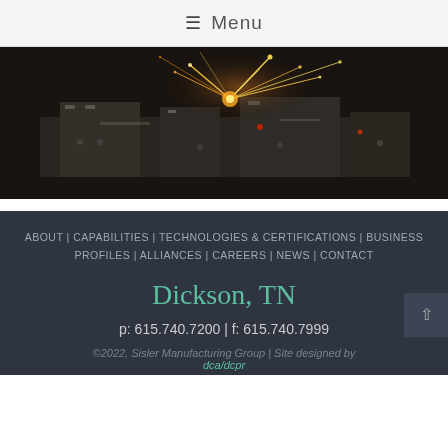≡ Menu
[Figure (photo): Industrial manufacturing scene with sparks flying from metal fabrication equipment, showing machine parts and tools in action]
ABOUT | CAPABILITIES | TECHNOLOGIES & CERTIFICATIONS | BUSINESS PROFILES | ALLIANCES | CAREERS | NEWS | CONTACT
Dickson, TN
p: 615.740.7200 | f: 615.740.7999
©2022, Sisler Manufacturing Group | Site designed by dca/dcpr